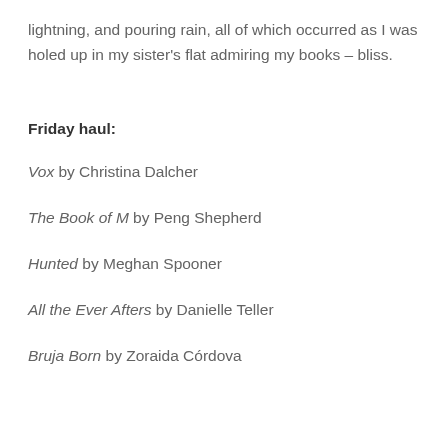lightning, and pouring rain, all of which occurred as I was holed up in my sister's flat admiring my books – bliss.
Friday haul:
Vox by Christina Dalcher
The Book of M by Peng Shepherd
Hunted by Meghan Spooner
All the Ever Afters by Danielle Teller
Bruja Born by Zoraida Córdova